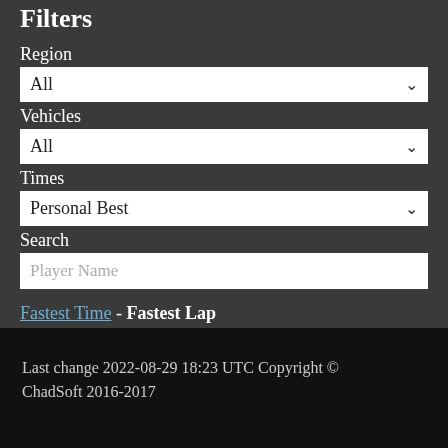Filters
Region
All (dropdown)
Vehicles
All (dropdown)
Times
Personal Best (dropdown)
Search
Player Name (input placeholder)
Fastest Time - Fastest Lap
| Rank | Player | Time | Date | Controller |
| --- | --- | --- | --- | --- |
Last change 2022-08-29 18:23 UTC Copyright © ChadSoft 2016-2017